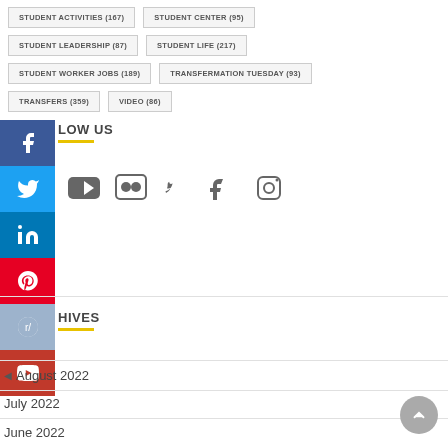STUDENT ACTIVITIES (167)
STUDENT CENTER (95)
STUDENT LEADERSHIP (87)
STUDENT LIFE (217)
STUDENT WORKER JOBS (189)
TRANSFERMATION TUESDAY (93)
TRANSFERS (359)
VIDEO (86)
FOLLOW US
[Figure (infographic): Social media icons row: YouTube, Flickr, Twitter, Facebook, Instagram]
ARCHIVES
August 2022
July 2022
June 2022